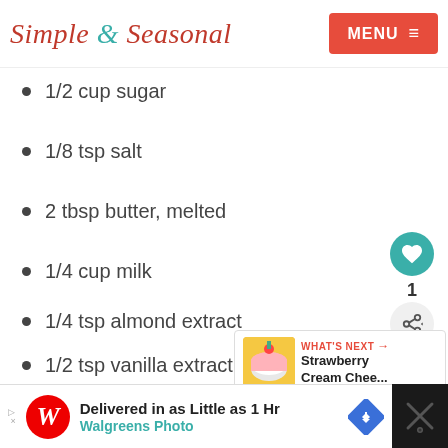Simple & Seasonal — MENU
1/2 cup sugar
1/8 tsp salt
2 tbsp butter, melted
1/4 cup milk
1/4 tsp almond extract
1/2 tsp vanilla extract
2 large egg whites
[Figure (screenshot): What's Next panel showing Strawberry Cream Chee... with cupcake thumbnail]
Delivered in as Little as 1 Hr — Walgreens Photo (ad)